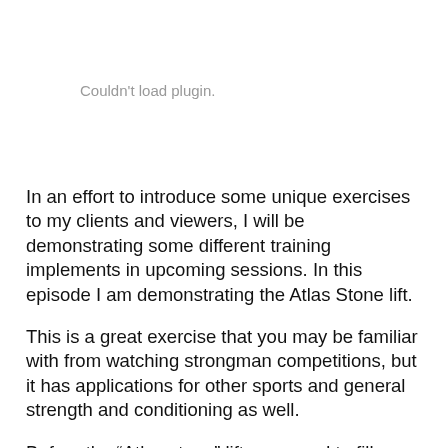[Figure (other): Couldn't load plugin placeholder area]
In an effort to introduce some unique exercises to my clients and viewers, I will be demonstrating some different training implements in upcoming sessions. In this episode I am demonstrating the Atlas Stone lift.
This is a great exercise that you may be familiar with from watching strongman competitions, but it has applications for other sports and general strength and conditioning as well.
Before the “Atlas stone” lift, you need to fill your belly with air. This must be done intentionally. You need to to take big